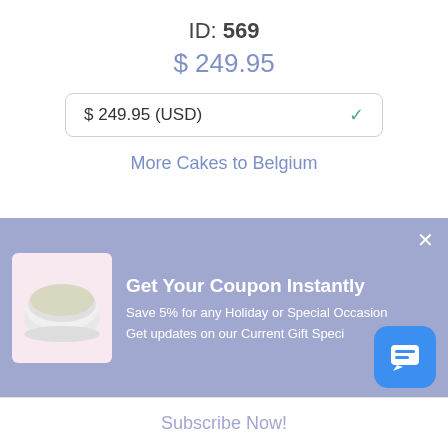ID: 569
$ 249.95
$ 249.95 (USD)
More Cakes to Belgium
[Figure (photo): Gift basket with orange juice bottle, Fat Snax cookies, coffee chocolate box, Jelly Belly candies box (20 Flavors), a purple bow gift tin, and other snack items arranged together]
[Figure (photo): Coupon popup banner with coconut cake image on left, text 'Get Your Coupon Instantly', 'Save 5% for any Holiday or Special Occasion', 'Get updates on our Current Gift Specials', and an X close button]
Get Your Coupon Instantly
Save 5% for any Holiday or Special Occasion
Get updates on our Current Gift Speci...
Subscribe Now!